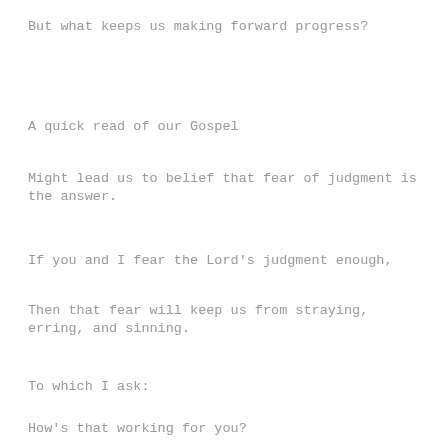But what keeps us making forward progress?
A quick read of our Gospel
Might lead us to belief that fear of judgment is the answer.
If you and I fear the Lord's judgment enough,
Then that fear will keep us from straying, erring, and sinning.
To which I ask:
How's that working for you?